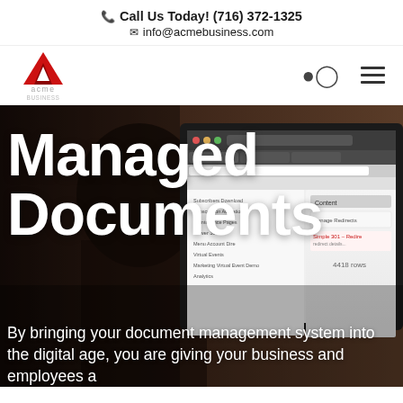Call Us Today! (716) 372-1325
info@acmebusiness.com
[Figure (logo): Acme Business logo — red triangular A shape with 'acme' text below]
Managed Documents
[Figure (photo): Background photo of a person at a computer monitor showing a website CMS admin interface]
By bringing your document management system into the digital age, you are giving your business and employees a